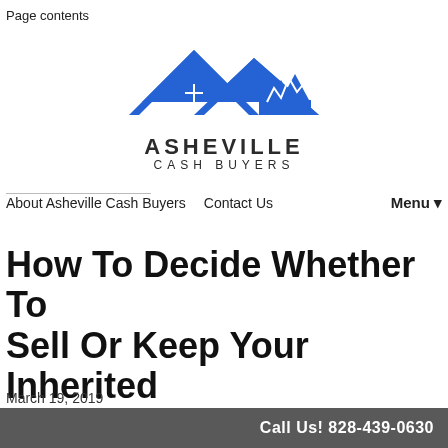Page contents
[Figure (logo): Asheville Cash Buyers logo — two blue house/mountain rooflines with a blue window grid, text ASHEVILLE CASH BUYERS below]
About Asheville Cash Buyers   Contact Us   Menu ▼
How To Decide Whether To Sell Or Keep Your Inherited Property In Asheville
March 19, 2019
By Rodrigo
Call Us! 828-439-0630